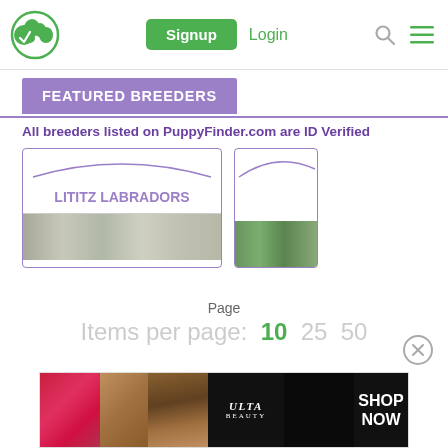[Figure (screenshot): Website navigation bar with green dog logo, Signup button, Login link, search icon, and hamburger menu icon]
FEATURED BREEDERS
All breeders listed on PuppyFinder.com are ID Verified
[Figure (screenshot): Breeder card for LITITZ LABRADORS with purple border and partial image, and a second partially visible breeder card]
Page
Items per page: 10 25 50
[Figure (screenshot): Close button (X in circle)]
[Figure (screenshot): Ulta Beauty advertisement banner with makeup images and SHOP NOW text]